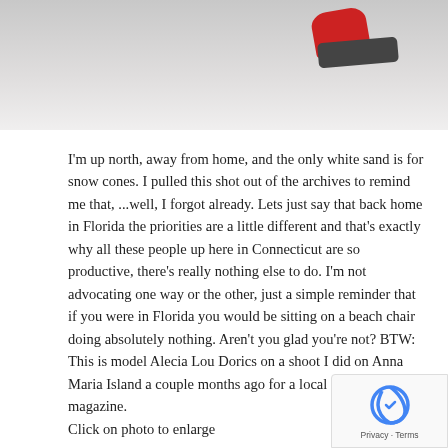[Figure (photo): Top portion of a photo showing a person lying on a white sandy beach, wearing a red hat/top, with beach accessories visible. Beach scene from Anna Maria Island, Florida.]
I'm up north, away from home, and the only white sand is for snow cones. I pulled this shot out of the archives to remind me that, ...well, I forgot already. Lets just say that back home in Florida the priorities are a little different and that's exactly why all these people up here in Connecticut are so productive, there's really nothing else to do. I'm not advocating one way or the other, just a simple reminder that if you were in Florida you would be sitting on a beach chair doing absolutely nothing. Aren't you glad you're not? BTW: This is model Alecia Lou Dorics on a shoot I did on Anna Maria Island a couple months ago for a local tourism magazine.
Click on photo to enlarge